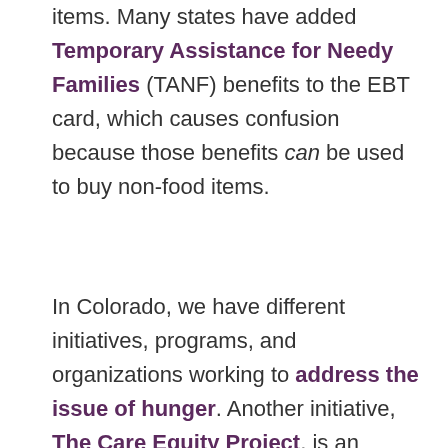items. Many states have added Temporary Assistance for Needy Families (TANF) benefits to the EBT card, which causes confusion because those benefits can be used to buy non-food items.
In Colorado, we have different initiatives, programs, and organizations working to address the issue of hunger. Another initiative, The Care Equity Project, is an interactive presentation that aims to increase empathy within the community and health care settings through storytelling. Their presentation has C...